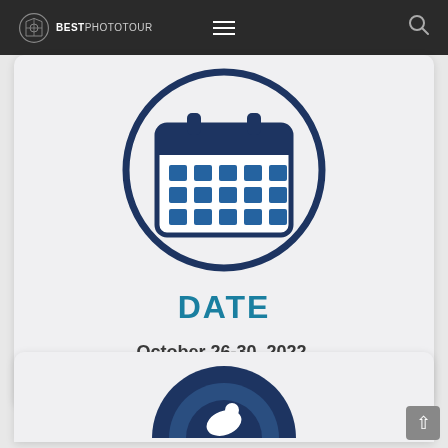BESTPHOTOTOUR navigation bar with logo, hamburger menu, and search icon
[Figure (illustration): Calendar icon inside a circle with dark navy border. Calendar has a white grid of squares representing days. Circle background is white with navy outline.]
DATE
October 26-30. 2022.
Duration: 5 days
[Figure (illustration): Partially visible bottom card showing a circular icon with dark navy background and a running/flying figure silhouette, cut off at bottom of page.]